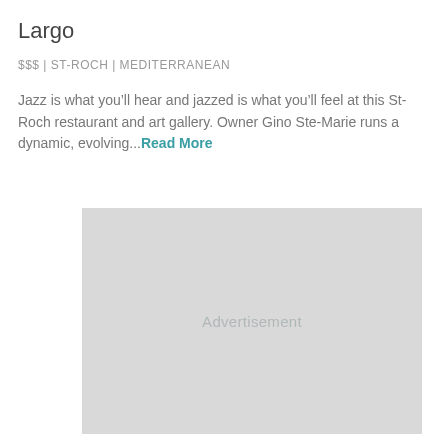Largo
$$$ | ST-ROCH | MEDITERRANEAN
Jazz is what you’ll hear and jazzed is what you’ll feel at this St-Roch restaurant and art gallery. Owner Gino Ste-Marie runs a dynamic, evolving...Read More
[Figure (other): Advertisement placeholder grey box with text 'Advertisement']